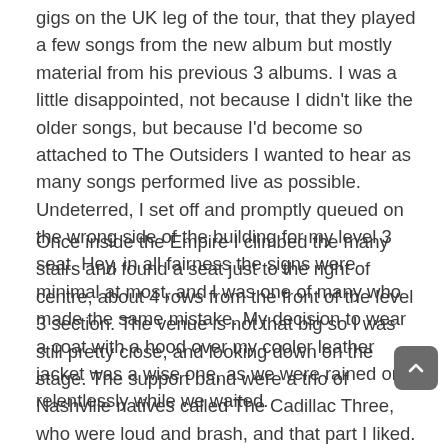gigs on the UK leg of the tour, that they played a few songs from the new album but mostly material from his previous 3 albums. I was a little disappointed, not because I didn't like the older songs, but because I'd become so attached to The Outsiders I wanted to hear as many songs performed live as possible. Undeterred, I set off and promptly queued on the wrong side of the building for my level 3 seat. Hey, in all fairness the signs were minimal at most, and I was one of many who made the same mistake. My decision to wear a coat with a hood over my cooler leather jacket was a wise one, as we were rained on relentlessly while we waited.
Once inside the Empire I climbed the many stairs and found a seat just to the right of centre, about 4 rows from the front of the level 3 section. The venue is not that big so I was still pretty close, and looking down on the stage. The support band were a trio of Nashville natives called The Cadillac Three, who were loud and brash, and that part I liked. What I didn't like was the sound set-up, which meant that from where I was sitting I could hear the guitars and drums, but the vocals were so lost I